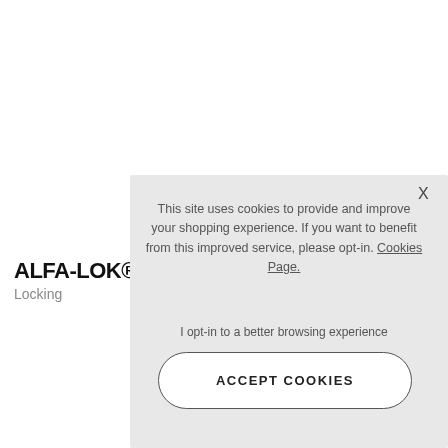ALFA-LOK®
Tap
Locking
[Figure (screenshot): Cookie consent overlay dialog on a shopping website. Contains text about cookie usage, a Cookies Page link, opt-in text, and an ACCEPT COOKIES button with a close X button.]